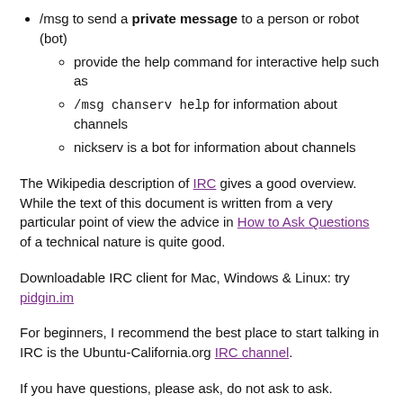/msg to send a private message to a person or robot (bot)
provide the help command for interactive help such as
/msg chanserv help for information about channels
nickserv is a bot for information about channels
The Wikipedia description of IRC gives a good overview. While the text of this document is written from a very particular point of view the advice in How to Ask Questions of a technical nature is quite good.
Downloadable IRC client for Mac, Windows & Linux: try pidgin.im
For beginners, I recommend the best place to start talking in IRC is the Ubuntu-California.org IRC channel.
If you have questions, please ask, do not ask to ask. Surprisingly for a real time communication method, some